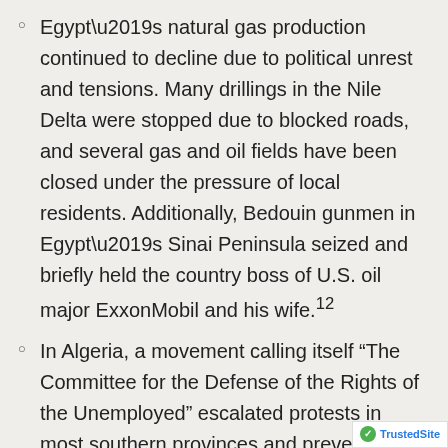Egypt’s natural gas production continued to decline due to political unrest and tensions. Many drillings in the Nile Delta were stopped due to blocked roads, and several gas and oil fields have been closed under the pressure of local residents. Additionally, Bedouin gunmen in Egypt’s Sinai Peninsula seized and briefly held the country boss of U.S. oil major ExxonMobil and his wife.12
In Algeria, a movement calling itself “The Committee for the Defense of the Rights of the Unemployed” escalated protests in most southern provinces and prevented by force a meeting of members of parliament in Ghardaia Province. These provinces abut Mali and lawlessness there will likely give a foothold to Malian Tuareg Islamist rebels fleeing Fre…